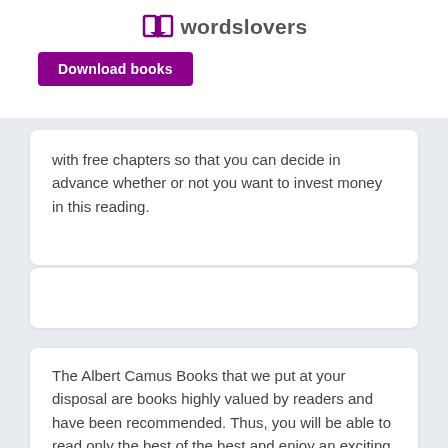wordslovers
[Figure (logo): wordslovers logo with open book icon in purple]
Download books
with free chapters so that you can decide in advance whether or not you want to invest money in this reading.
The Albert Camus Books that we put at your disposal are books highly valued by readers and have been recommended. Thus, you will be able to read only the best of the best and enjoy an exciting, interesting, and engaging read from the beginning to the end.